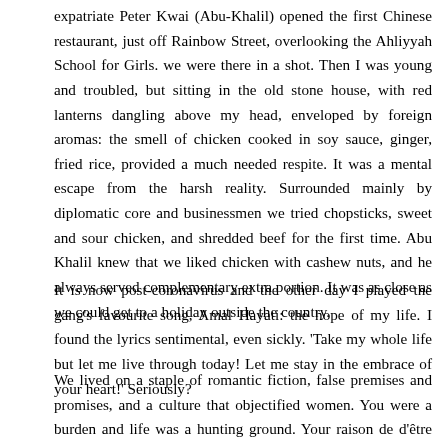expatriate Peter Kwai (Abu-Khalil) opened the first Chinese restaurant, just off Rainbow Street, overlooking the Ahliyyah School for Girls. we were there in a shot. Then I was young and troubled, but sitting in the old stone house, with red lanterns dangling above my head, enveloped by foreign aromas: the smell of chicken cooked in soy sauce, ginger, fried rice, provided a much needed respite. It was a mental escape from the harsh reality. Surrounded mainly by diplomatic core and businessmen we tried chopsticks, sweet and sour chicken, and shredded beef for the first time. Abu Khalil knew that we liked chicken with cashew nuts, and he always served complementary extra portion. It was as close as we could get to a holiday outside the country.
It is now post-coronavirus and the other day I played the gang's favourite song, Amal Hayati: the hope of my life. I found the lyrics sentimental, even sickly. 'Take my whole life but let me live through today! Let me stay in the embrace of your heart!' Seriously?
We lived on a staple of romantic fiction, false premises and promises, and a culture that objectified women. You were a burden and life was a hunting ground. Your raison de d'être was to catch an eligible bachelor. Wearing glasses, having bad posture, and reading all the